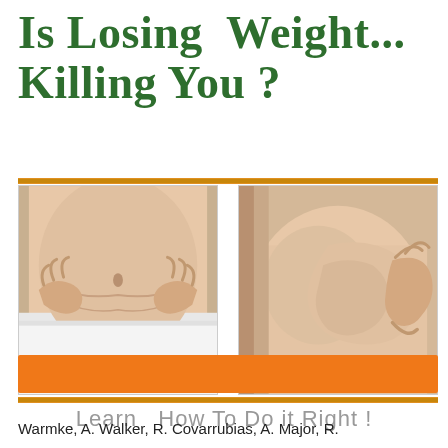Is Losing Weight... Killing You ?
[Figure (photo): Two side-by-side photos showing body fat: left photo shows a person pinching belly fat, right photo shows a person pinching thigh/hip fat]
Learn  How To Do it Right !
[Figure (other): Orange horizontal bar/banner]
Warmke, A. Walker, R. Covarrubias, A. Major, R.